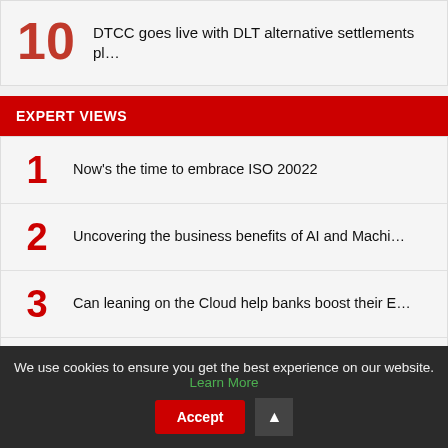10 DTCC goes live with DLT alternative settlements pl…
EXPERT VIEWS
1 Now's the time to embrace ISO 20022
2 Uncovering the business benefits of AI and Machi…
3 Can leaning on the Cloud help banks boost their E…
4 The organisational resilience tipping point
We use cookies to ensure you get the best experience on our website. Learn More Accept